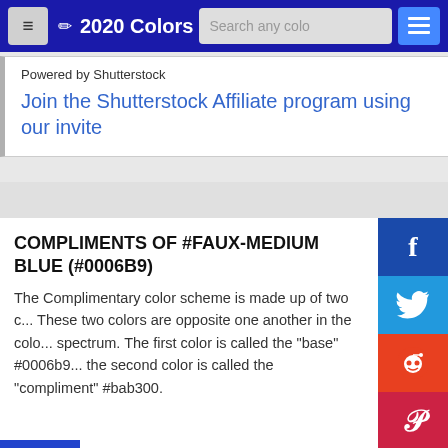2020 Colors
Powered by Shutterstock
Join the Shutterstock Affiliate program using our invite
COMPLIMENTS OF #FAUX-MEDIUM BLUE (#0006B9)
The Complimentary color scheme is made up of two c... These two colors are opposite one another in the colo... spectrum. The first color is called the "base" #0006b9... the second color is called the "compliment" #bab300.